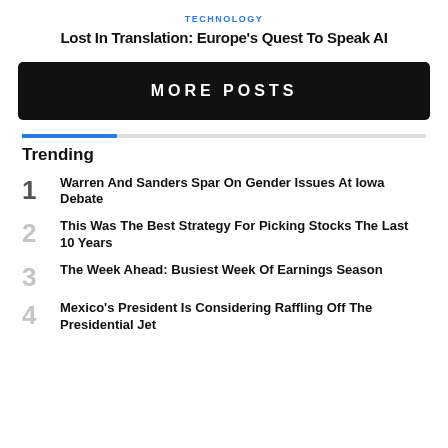TECHNOLOGY
Lost In Translation: Europe's Quest To Speak AI
MORE POSTS
Trending
1 Warren And Sanders Spar On Gender Issues At Iowa Debate
2 This Was The Best Strategy For Picking Stocks The Last 10 Years
3 The Week Ahead: Busiest Week Of Earnings Season
4 Mexico's President Is Considering Raffling Off The Presidential Jet